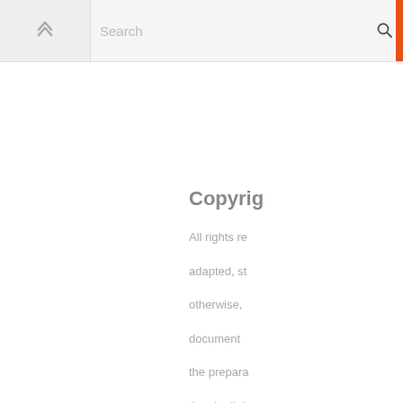Search
Copyrigh
All rights re
adapted, st
otherwise,
document
the prepara
they be liab
Trademar
1E, the 1E d
NOMAD EN